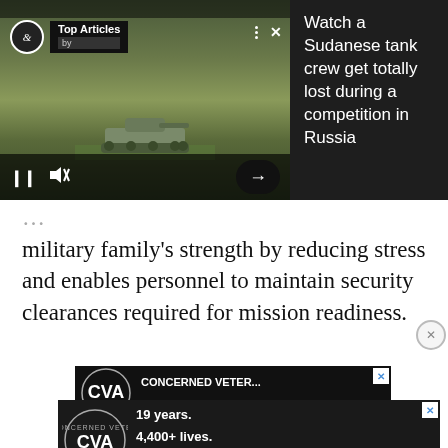[Figure (screenshot): Video player showing a tank on a field with Top Articles overlay. Controls show pause, mute, and arrow buttons. Right side shows dark panel with text.]
Watch a Sudanese tank crew get totally lost during a competition in Russia
military family's strength by reducing stress and enables personnel to maintain security clearances required for mission readiness.
[Figure (advertisement): Concerned Veterans for America ad showing logo with text: 19 years. 4,400+ lives. $2.4 trillion and counting. BRING OUR TROOPS HOME]